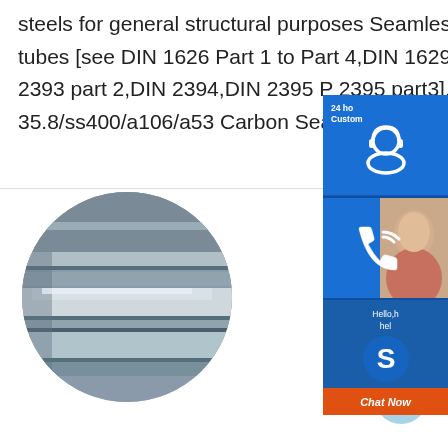steels for general structural purposes Seamless and welded tubes and precision steel tubes [see DIN 1626 Part 1 to Part 4,DIN 1629 Part 1 to part4,DIN 2391 Part2,DIN 2393 part 2,DIN 2394,DIN 2395 Part 2395 part3].Steel castings (See DINDin 17 35.8/ss400/a106/a53 Carbon Seamless S
[Figure (photo): Circular cropped photo of stacked steel plates/sheets in a warehouse or storage area, showing metallic silver-gray surfaces.]
[Figure (screenshot): Website overlay UI elements: customer service sidebar with headphone icon labeled '24 ho... Custom...', a phone/call icon on blue background, a face of a customer service representative, a Skype icon with 'Hello, h help' text, and a red 'Chat Now' button. Also a light-blue circular scroll-to-top button with an up arrow.]